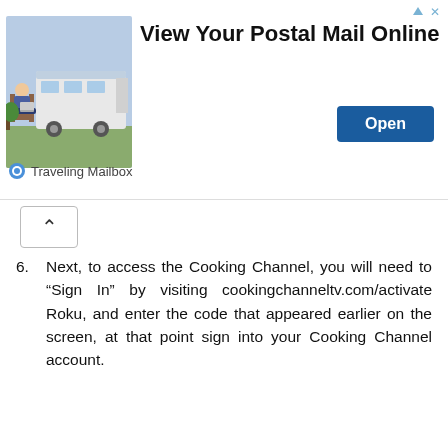[Figure (advertisement): Ad banner: View Your Postal Mail Online by Traveling Mailbox, with Open button and photo of person with laptop outdoors near RV]
6. Next, to access the Cooking Channel, you will need to “Sign In” by visiting cookingchanneltv.com/activate Roku, and enter the code that appeared earlier on the screen, at that point sign into your Cooking Channel account.
citi.com Activate : How to Activate a Citibank Credit Card Through the Internet
Views: 662 citi.com Activate : How to Activate a Citibank Credit Card Through the Internet Citibank Credit Card Activation: If you are looking for information on Citibank Credit Card Activation but haven’t been able to … Continue reading